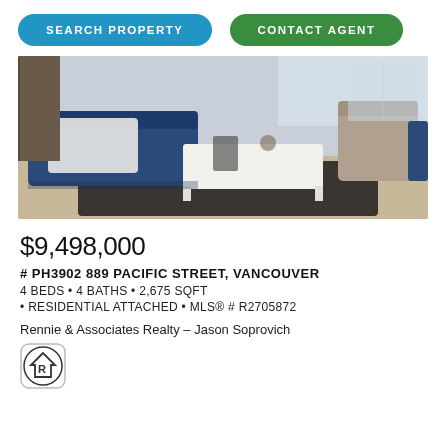SEARCH PROPERTY
CONTACT AGENT
[Figure (photo): Interior living room photo showing a modern apartment with blue sofa, white blanket, white coffee table, and dark area rug]
$9,498,000
# PH3902 889 PACIFIC STREET, VANCOUVER
4 BEDS • 4 BATHS • 2,675 SQFT
• RESIDENTIAL ATTACHED • MLS® # R2705872
Rennie & Associates Realty – Jason Soprovich
[Figure (logo): Realtor logo — circular icon with a house/R symbol]